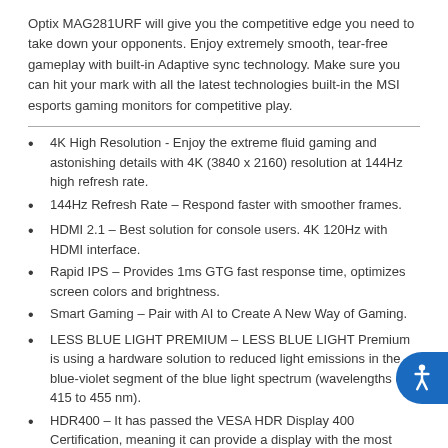Optix MAG281URF will give you the competitive edge you need to take down your opponents. Enjoy extremely smooth, tear-free gameplay with built-in Adaptive sync technology. Make sure you can hit your mark with all the latest technologies built-in the MSI esports gaming monitors for competitive play.
4K High Resolution - Enjoy the extreme fluid gaming and astonishing details with 4K (3840 x 2160) resolution at 144Hz high refresh rate.
144Hz Refresh Rate – Respond faster with smoother frames.
HDMI 2.1 – Best solution for console users. 4K 120Hz with HDMI interface.
Rapid IPS – Provides 1ms GTG fast response time, optimizes screen colors and brightness.
Smart Gaming – Pair with AI to Create A New Way of Gaming.
LESS BLUE LIGHT PREMIUM – LESS BLUE LIGHT Premium is using a hardware solution to reduced light emissions in the blue-violet segment of the blue light spectrum (wavelengths of 415 to 455 nm).
HDR400 – It has passed the VESA HDR Display 400 Certification, meaning it can provide a display with the most realistic colors.